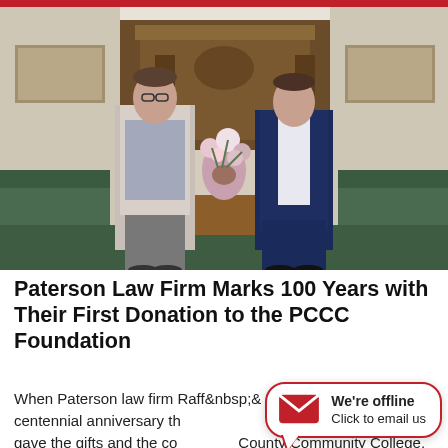[Figure (photo): Two men in business attire standing in a formal wood-paneled room with a floral arrangement on a table between them and artwork on the walls]
Paterson Law Firm Marks 100 Years with Their First Donation to the PCCC Foundation
When Paterson law firm Raff & Raff, LLC marked its centennial anniversary th gave the gifts and the com County Community College, that were the grateful
[Figure (infographic): Chat widget overlay showing envelope icon and text: We're offline / Click to email us]